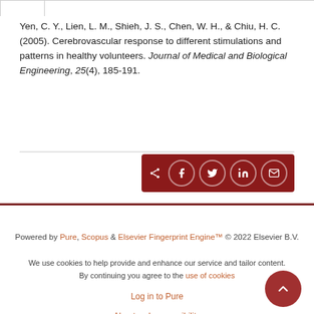Yen, C. Y., Lien, L. M., Shieh, J. S., Chen, W. H., & Chiu, H. C. (2005). Cerebrovascular response to different stimulations and patterns in healthy volunteers. Journal of Medical and Biological Engineering, 25(4), 185-191.
[Figure (other): Dark red share bar with share icon and four social media icons (Facebook, Twitter, LinkedIn, Email) as white circles]
Powered by Pure, Scopus & Elsevier Fingerprint Engine™ © 2022 Elsevier B.V.
We use cookies to help provide and enhance our service and tailor content. By continuing you agree to the use of cookies
Log in to Pure
About web accessibility